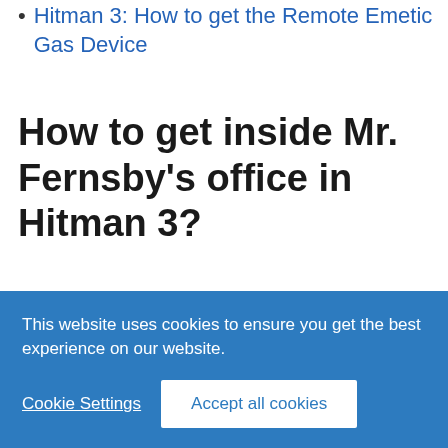Hitman 3: How to get the Remote Emetic Gas Device
How to get inside Mr. Fernsby's office in Hitman 3?
Access the room from the office will…
This website uses cookies to ensure you get the best experience on our website.
Cookie Settings
Accept all cookies